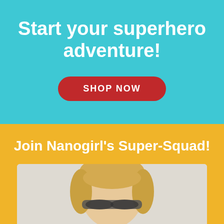Start your superhero adventure!
SHOP NOW
Join Nanogirl's Super-Squad!
[Figure (photo): Photo of a person (Nanogirl character) with blonde hair, partially visible at bottom of page, against a light background]